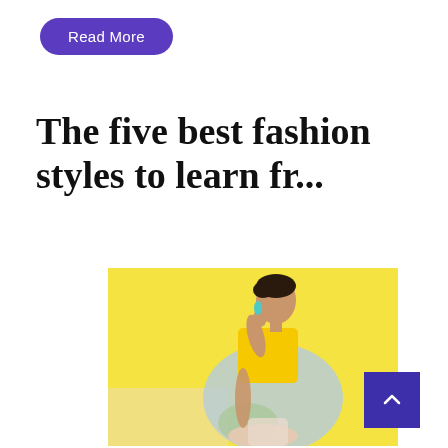Read More
The five best fashion styles to learn fr...
[Figure (photo): A woman in a yellow top and light blue/grey draped shawl or saree, seated against a bright yellow background. She has dark hair pulled back and is wearing teal drop earrings. The image is a fashion/lifestyle photograph.]
^